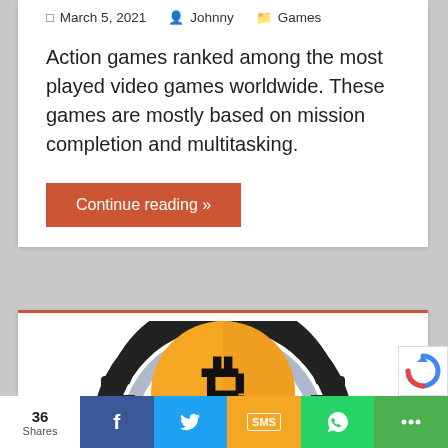March 5, 2021  Johnny  Games
Action games ranked among the most played video games worldwide. These games are mostly based on mission completion and multitasking.
Continue reading »
[Figure (illustration): Bitcoin logo illustration — a gold circle with a stylized B symbol and dark outer ring, partially visible, cropped at bottom]
36 Shares